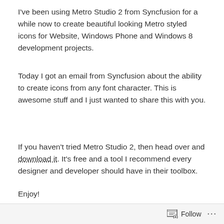I've been using Metro Studio 2 from Syncfusion for a while now to create beautiful looking Metro styled icons for Website, Windows Phone and Windows 8 development projects.
Today I got an email from Syncfusion about the ability to create icons from any font character. This is awesome stuff and I just wanted to share this with you.
If you haven't tried Metro Studio 2, then head over and download it. It's free and a tool I recommend every designer and developer should have in their toolbox.
Enjoy!
[Figure (screenshot): Screenshot of Syncfusion website with dark header bar showing Syncfusion logo and a row of colorful thumbnail images below.]